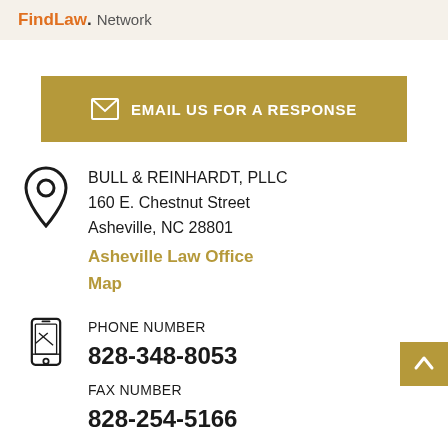FindLaw. Network
EMAIL US FOR A RESPONSE
BULL & REINHARDT, PLLC
160 E. Chestnut Street
Asheville, NC 28801
Asheville Law Office Map
PHONE NUMBER
828-348-8053
FAX NUMBER
828-254-5166